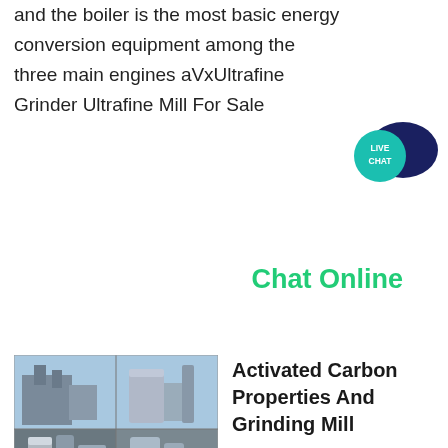and the boiler is the most basic energy conversion equipment among the three main engines aVxUltrafine Grinder Ultrafine Mill For Sale
[Figure (illustration): Live Chat speech bubble widget — dark navy blue chat bubble with teal circular badge labeled LIVE CHAT]
Chat Online
[Figure (photo): Industrial grinding mill facility photo collage showing exterior and interior views of machinery]
Activated Carbon Properties And Grinding Mill
Aug 05 2021  Activated carbon is a black porous solid carbonaceous material In the early stage it is obtained by carbonization and activation of wood hard nut shell or animal bone and then converted to coal by pulverization molding or carbonization and activation with uniform coal particles